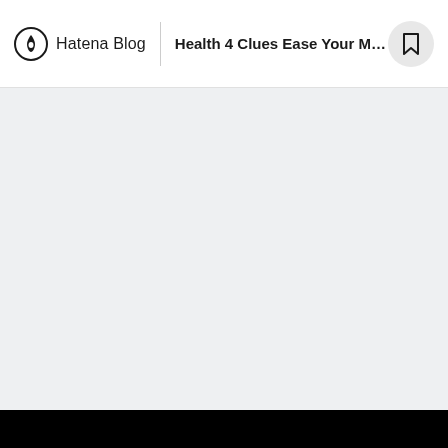Hatena Blog | Health 4 Clues Ease Your Milia...
[Figure (other): Large empty light gray content area below the navigation header]